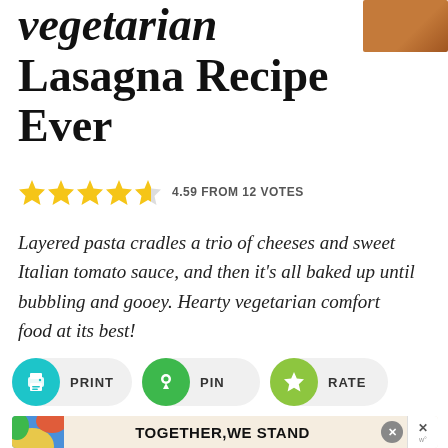Lasagna Recipe Ever
4.59 FROM 12 VOTES
Layered pasta cradles a trio of cheeses and sweet Italian tomato sauce, and then it's all baked up until bubbling and gooey. Hearty vegetarian comfort food at its best!
[Figure (infographic): Three action buttons: PRINT (teal circle with printer icon), PIN (green circle with pin icon), RATE (yellow-green circle with star icon)]
[Figure (infographic): Advertisement banner: TOGETHER WE STAND text with colorful decorative elements and close button]